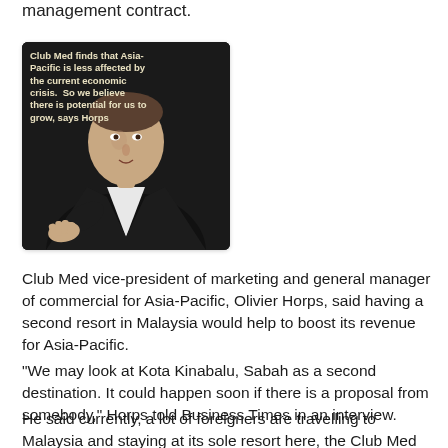management contract.
[Figure (photo): Photo of Olivier Horps, Club Med vice-president of marketing and general manager of commercial for Asia-Pacific, with overlaid text quote: 'Club Med finds that Asia-Pacific is less affected by the current economic crisis. So we believe there is potential for us to grow, says Horps']
Club Med vice-president of marketing and general manager of commercial for Asia-Pacific, Olivier Horps, said having a second resort in Malaysia would help to boost its revenue for Asia-Pacific.
"We may look at Kota Kinabalu, Sabah as a second destination. It could happen soon if there is a proposal from somebody," Horps told Business Times in an interview.
He said currently, a lot of foreigners are travelling to Malaysia and staying at its sole resort here, the Club Med Cherating in Pahang.